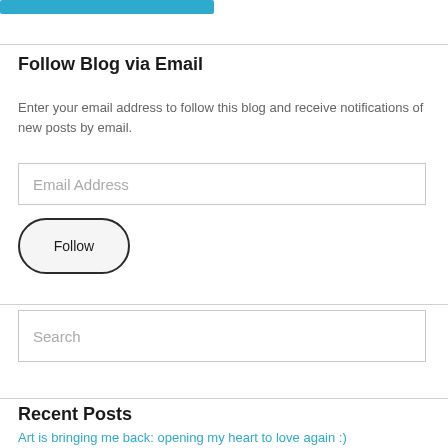[Figure (other): Blue button/bar at top left]
Follow Blog via Email
Enter your email address to follow this blog and receive notifications of new posts by email.
[Figure (other): Email Address input field (empty, placeholder text shown)]
[Figure (other): Follow button with rounded pill border]
[Figure (other): Search input field (empty, placeholder text shown)]
Recent Posts
Art is bringing me back: opening my heart to love again :)